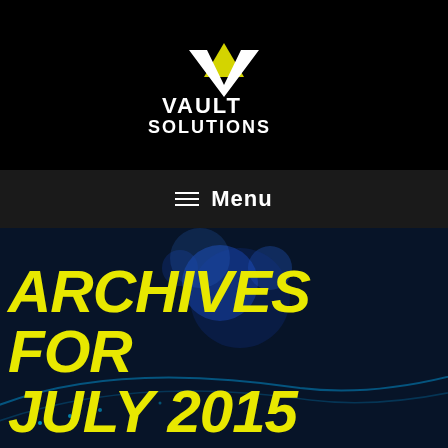[Figure (logo): Vault Solutions logo with white V-shaped chevron/arrow and yellow triangle accent, white text reading 'VAULT SOLUTIONS' below]
≡  Menu
ARCHIVES FOR JULY 2015